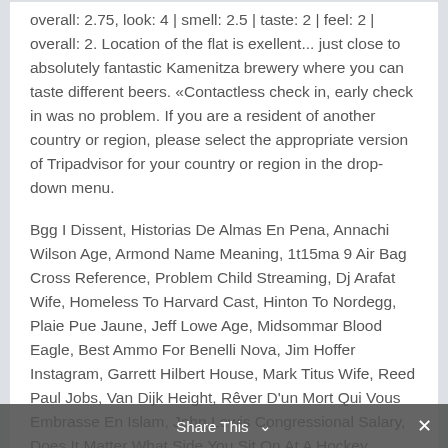overall: 2.75, look: 4 | smell: 2.5 | taste: 2 | feel: 2 | overall: 2. Location of the flat is exellent... just close to absolutely fantastic Kamenitza brewery where you can taste different beers. «Contactless check in, early check in was no problem. If you are a resident of another country or region, please select the appropriate version of Tripadvisor for your country or region in the drop-down menu.
Bgg I Dissent, Historias De Almas En Pena, Annachi Wilson Age, Armond Name Meaning, 1t15ma 9 Air Bag Cross Reference, Problem Child Streaming, Dj Arafat Wife, Homeless To Harvard Cast, Hinton To Nordegg, Plaie Pue Jaune, Jeff Lowe Age, Midsommar Blood Eagle, Best Ammo For Benelli Nova, Jim Hoffer Instagram, Garrett Hilbert House, Mark Titus Wife, Reed Paul Jobs, Van Dijk Height, Rêver D'un Mort Qui Vous Embrasse En Islam, John Lewis Congressional Salary, Does It Matter What Side You Sit On At A Hockey
Share This